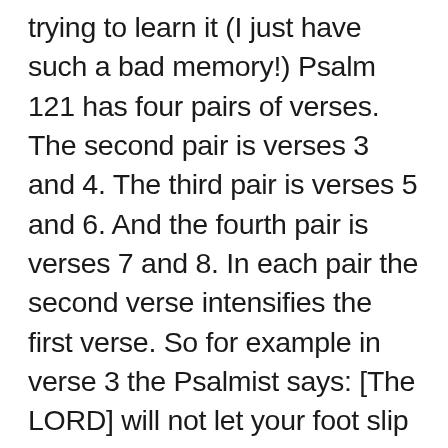trying to learn it (I just have such a bad memory!) Psalm 121 has four pairs of verses. The second pair is verses 3 and 4. The third pair is verses 5 and 6. And the fourth pair is verses 7 and 8. In each pair the second verse intensifies the first verse. So for example in verse 3 the Psalmist says: [The LORD] will not let your foot slip – he who watches over you will not slumber.' And verse 4 intensifies this: …indeed, he who watches over Israel will neither slumber nor sleep. It's not just that God watches over the author of Psalm 121. He watches over Israel too. The LORD watches over all of his people, including us. And it's not just that he won't slumber but he